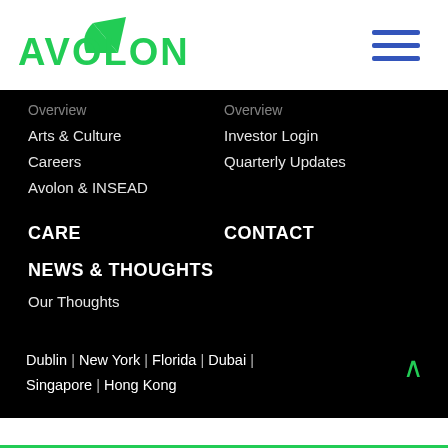[Figure (logo): Avolon logo with green triangle/leaf icon and bold green AVOLON text]
[Figure (other): Hamburger menu icon with three blue horizontal lines]
Overview
Overview
Arts & Culture
Investor Login
Careers
Quarterly Updates
Avolon & INSEAD
CARE
CONTACT
NEWS & THOUGHTS
Our Thoughts
Dublin | New York | Florida | Dubai | Singapore | Hong Kong